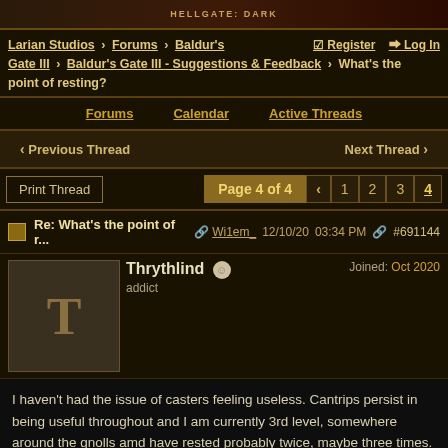HELLGATE: DARK
Larian Studios > Forums > Baldur's Gate III > Baldur's Gate III - Suggestions & Feedback > What's the point of resting?   Register   Log In
Forums   Calendar   Active Threads
< Previous Thread   Next Thread >
Print Thread   Page 4 of 4  < 1 2 3 4
Re: What's the point of r...  Wi1em_  12/10/20  03:34 PM  #691144
Thrythlind  addict  Joined: Oct 2020
I haven't had the issue of casters feeling useless. Cantrips persist in being useful throughout and I am currently 3rd level, somewhere around the gnolls amd have rested probably twice, maybe three times. (I don't remember the conversation with Gale doing mirror image at the start happening on this run, but I got the convo with the devil just recently). I only ever rest when I start getting worried about a big fight coming. I can get past most fights without needing spell slots by judicious use of things like shove and cantrips. If I were to make any suggestion